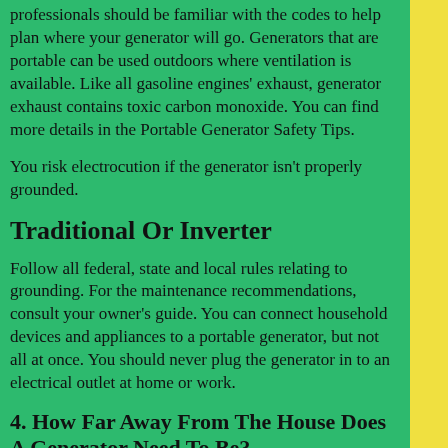professionals should be familiar with the codes to help plan where your generator will go. Generators that are portable can be used outdoors where ventilation is available. Like all gasoline engines' exhaust, generator exhaust contains toxic carbon monoxide. You can find more details in the Portable Generator Safety Tips.
You risk electrocution if the generator isn't properly grounded.
Traditional Or Inverter
Follow all federal, state and local rules relating to grounding. For the maintenance recommendations, consult your owner's guide. You can connect household devices and appliances to a portable generator, but not all at once. You should never plug the generator in to an electrical outlet at home or work.
4. How Far Away From The House Does A Generator Need To Be?